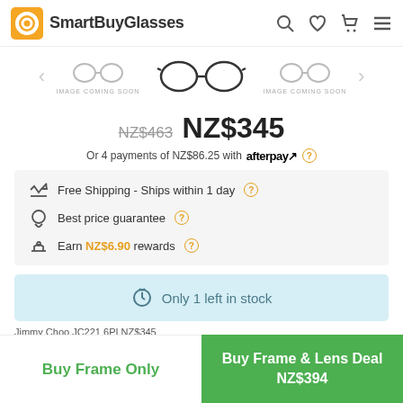SmartBuyGlasses
[Figure (screenshot): Product image carousel with center glasses image and two 'IMAGE COMING SOON' placeholder thumbnails on either side]
NZ$463  NZ$345
Or 4 payments of NZ$86.25 with afterpay ?
Free Shipping - Ships within 1 day ?
Best price guarantee ?
Earn NZ$6.90 rewards ?
Only 1 left in stock
Jimmy Choo JC221 6PI NZ$345
Buy Frame Only
Buy Frame & Lens Deal NZ$394